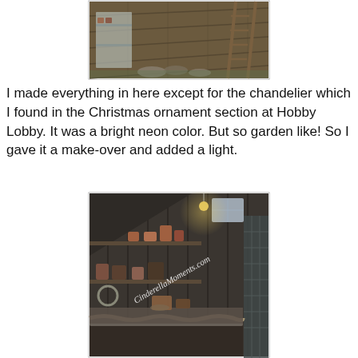[Figure (photo): Interior of a miniature garden shed diorama showing wooden plank floor, shelves, and a ladder. The scene is viewed from above at an angle.]
I made everything in here except for the chandelier which I found in the Christmas ornament section at Hobby Lobby. It was a bright neon color. But so garden like! So I gave it a make-over and added a light.
[Figure (photo): Interior of a miniature garden shed with dark wooden plank walls, shelves holding terracotta pots and garden tools, a lit chandelier overhead, a window letting in light, and a rope-edged potting bench in the foreground. Watermark: CinderellaMoments.com]